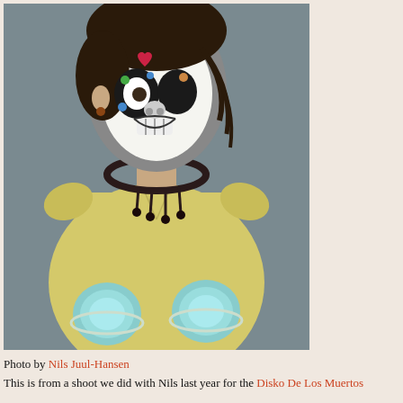[Figure (photo): A woman wearing Día de los Muertos skull face paint (white base with colorful decorative designs including a heart on the forehead and floral patterns), a yellow short-sleeve top with ruffled sleeves, a dark beaded necklace, and large teal/silver flower corsages on both wrists. She is posed against a gray studio background.]
Photo by Nils Juul-Hansen
This is from a shoot we did with Nils last year for the Disko De Los Muertos